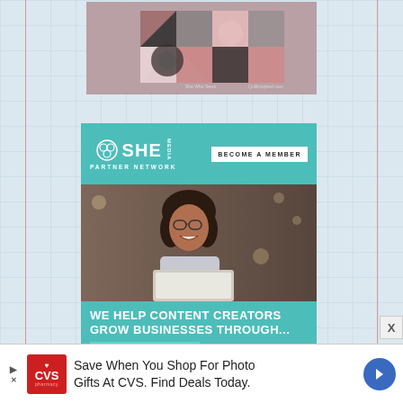[Figure (photo): Close-up photograph of a quilt with pink, white, black and grey patchwork pattern including triangles and squares arranged in circular/star motifs]
[Figure (advertisement): SHE Media Partner Network advertisement. Top section shows SHE Media logo with 'BECOME A MEMBER' button on teal background. Middle section shows a smiling woman with glasses holding a tablet. Bottom teal section reads 'WE HELP CONTENT CREATORS GROW BUSINESSES THROUGH...' with a button below.]
[Figure (advertisement): CVS Pharmacy banner ad at bottom: 'Save When You Shop For Photo Gifts At CVS. Find Deals Today.' with CVS pharmacy logo and navigation arrow.]